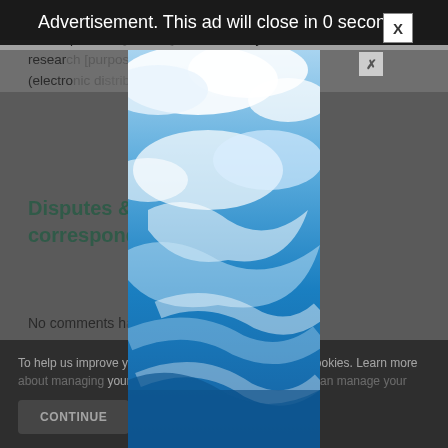Advertisement. This ad will close in 0 seconds.
electronic means.  The payee may view, download, and/or print the [content] for scholarly, research [purposes] (electronic [distribution] is not allowed.
Disputes & D[isputes] correspondence[...]
No comments h[ave been posted for this] article.
To help us improve y[our experience,] this website uses cookies. Learn more[ about] your settings in our Cookie Policy. You c[an manage]
[Figure (photo): Advertisement overlay showing a sky with blue and white clouds image, tall vertical format]
CONTINUE
FIN[D OUT MORE]